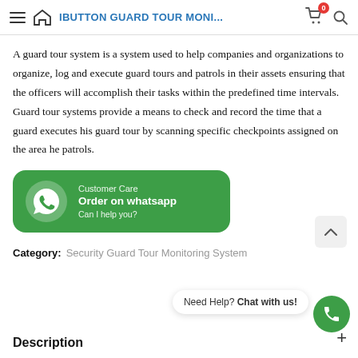IBUTTON GUARD TOUR MONI...
A guard tour system is a system used to help companies and organizations to organize, log and execute guard tours and patrols in their assets ensuring that the officers will accomplish their tasks within the predefined time intervals. Guard tour systems provide a means to check and record the time that a guard executes his guard tour by scanning specific checkpoints assigned on the area he patrols.
[Figure (infographic): Green WhatsApp customer care widget with WhatsApp logo, label 'Customer Care', bold text 'Order on whatsapp', subtitle 'Can I help you?']
Category: Security Guard Tour Monitoring System
Need Help? Chat with us!
Description